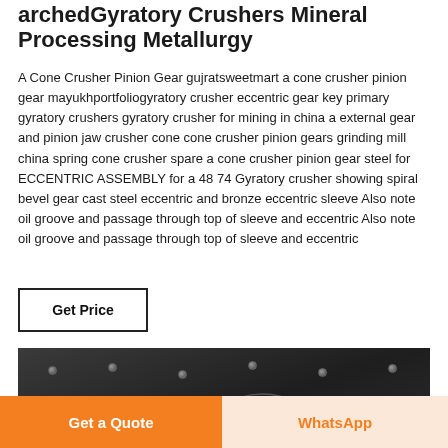archedGyratory Crushers Mineral Processing Metallurgy
A Cone Crusher Pinion Gear gujratsweetmart a cone crusher pinion gear mayukhportfoliogyratory crusher eccentric gear key primary gyratory crushers gyratory crusher for mining in china a external gear and pinion jaw crusher cone cone crusher pinion gears grinding mill china spring cone crusher spare a cone crusher pinion gear steel for ECCENTRIC ASSEMBLY for a 48 74 Gyratory crusher showing spiral bevel gear cast steel eccentric and bronze eccentric sleeve Also note oil groove and passage through top of sleeve and eccentric Also note oil groove and passage through top of sleeve and eccentric
Get Price
[Figure (photo): Dark metallic surface with bolts/fasteners visible, likely industrial crusher equipment]
Get a Quote
WhatsApp